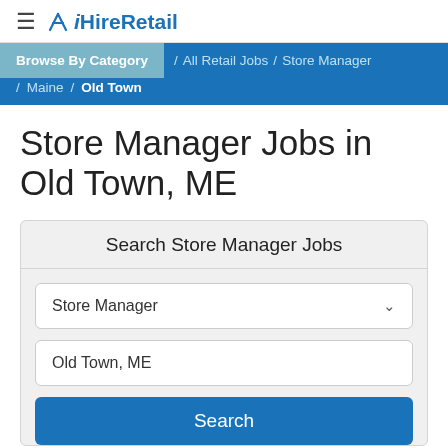iHireRetail
Browse By Category / All Retail Jobs / Store Manager / Maine / Old Town
Store Manager Jobs in Old Town, ME
Search Store Manager Jobs
Store Manager
Old Town, ME
Search